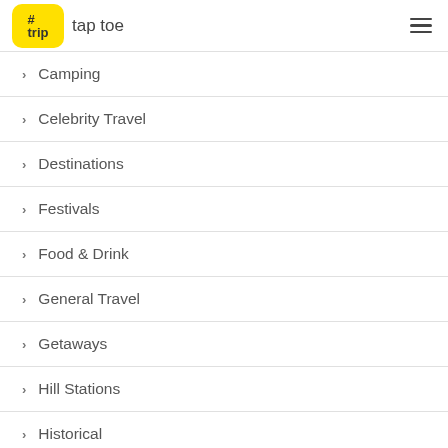#triptaptoe
Camping
Celebrity Travel
Destinations
Festivals
Food & Drink
General Travel
Getaways
Hill Stations
Historical